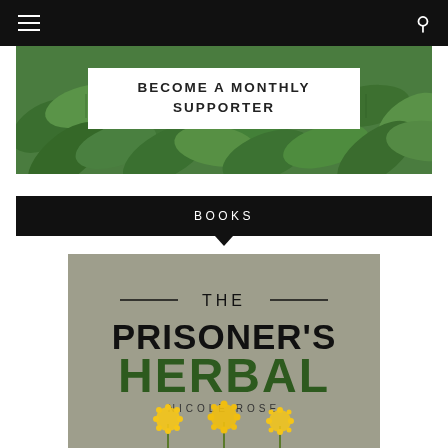Navigation bar with hamburger menu and search icon
[Figure (photo): Green leafy plant background image for hero section]
BECOME A MONTHLY SUPPORTER
BOOKS
[Figure (photo): Book cover: The Prisoner's Herbal by Nicole Rose, featuring bold dark green and black text on a stone-grey background with yellow dandelion flowers at the bottom]